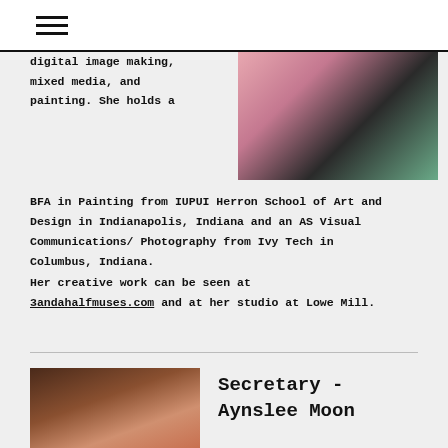≡
digital image making, mixed media, and painting. She holds a BFA in Painting from IUPUI Herron School of Art and Design in Indianapolis, Indiana and an AS Visual Communications/ Photography from Ivy Tech in Columbus, Indiana. Her creative work can be seen at 3andahalfmuses.com and at her studio at Lowe Mill.
[Figure (photo): Photo of a person in dark clothing with a green drink]
[Figure (photo): Portrait photo of Aynslee Moon]
Secretary - Aynslee Moon